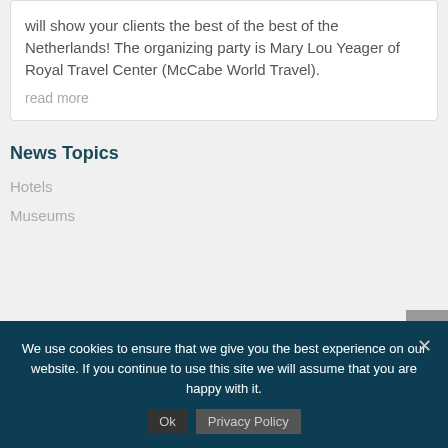will show your clients the best of the best of the Netherlands! The organizing party is Mary Lou Yeager of Royal Travel Center (McCabe World Travel).
read more
News Topics
Hotels
Museums
We use cookies to ensure that we give you the best experience on our website. If you continue to use this site we will assume that you are happy with it.
Ok   Privacy Policy